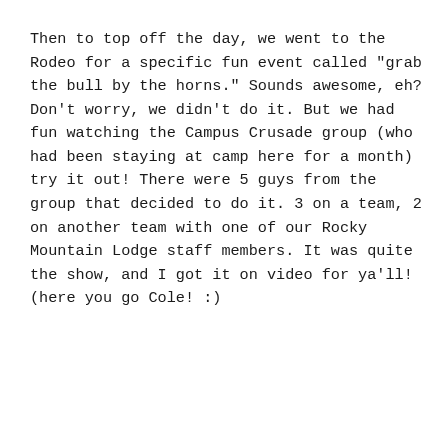Then to top off the day, we went to the Rodeo for a specific fun event called "grab the bull by the horns." Sounds awesome, eh? Don't worry, we didn't do it. But we had fun watching the Campus Crusade group (who had been staying at camp here for a month) try it out! There were 5 guys from the group that decided to do it. 3 on a team, 2 on another team with one of our Rocky Mountain Lodge staff members. It was quite the show, and I got it on video for ya'll! (here you go Cole! :)